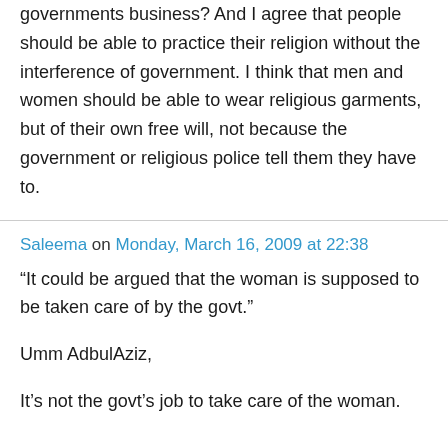governments business? And I agree that people should be able to practice their religion without the interference of government. I think that men and women should be able to wear religious garments, but of their own free will, not because the government or religious police tell them they have to.
Saleema on Monday, March 16, 2009 at 22:38
“It could be argued that the woman is supposed to be taken care of by the govt.”
Umm AdbulAziz,
It’s not the govt’s job to take care of the woman.